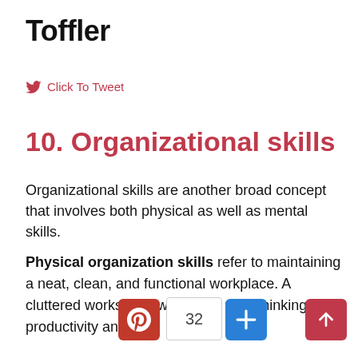Toffler
Click To Tweet
10. Organizational skills
Organizational skills are another broad concept that involves both physical as well as mental skills.
Physical organization skills refer to maintaining a neat, clean, and functional workplace. A cluttered workspace will hinder your thinking and productivity and